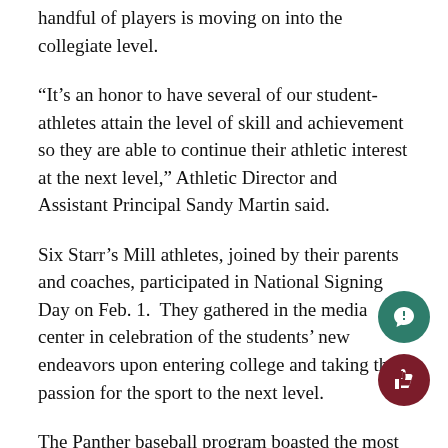handful of players is moving on into the collegiate level.
“It’s an honor to have several of our student-athletes attain the level of skill and achievement so they are able to continue their athletic interest at the next level,” Athletic Director and Assistant Principal Sandy Martin said.
Six Starr’s Mill athletes, joined by their parents and coaches, participated in National Signing Day on Feb. 1. They gathered in the media center in celebration of the students’ new endeavors upon entering college and taking their passion for the sport to the next level.
The Panther baseball program boasted the most signees. Will Collins will continue his career at the University of the South. Emory University welcomes Jack Moore to their baseball team. Baseball commi… Chance Amell is “grateful for all opportunities [he has